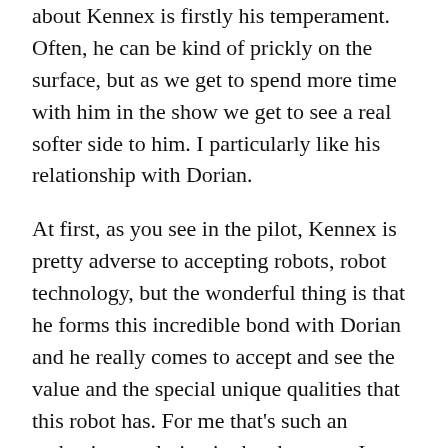that occasionally things I guess what I like to about Kennex is firstly his temperament. Often, he can be kind of prickly on the surface, but as we get to spend more time with him in the show we get to see a real softer side to him. I particularly like his relationship with Dorian.
At first, as you see in the pilot, Kennex is pretty adverse to accepting robots, robot technology, but the wonderful thing is that he forms this incredible bond with Dorian and he really comes to accept and see the value and the special unique qualities that this robot has. For me that's such an endearing evolution in the character. I think that's been one of my most favorite aspects of portraying Kennex.
Michael Ealy: I think for me one of the things I like the most about Dorian is his sincerity — we've had some episodes where he's kind of come to this conclusion that there's an automatic protocol. When,